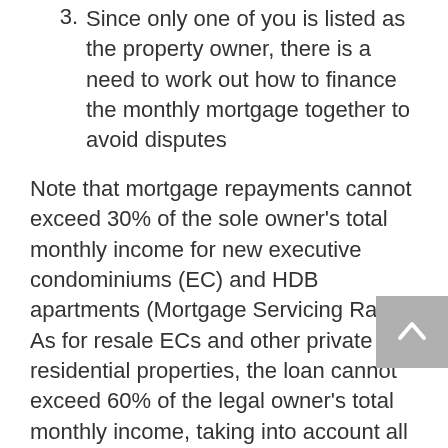3. Since only one of you is listed as the property owner, there is a need to work out how to finance the monthly mortgage together to avoid disputes
Note that mortgage repayments cannot exceed 30% of the sole owner's total monthly income for new executive condominiums (EC) and HDB apartments (Mortgage Servicing Ratio). As for resale ECs and other private residential properties, the loan cannot exceed 60% of the legal owner's total monthly income, taking into account all current debt obligations (Total Debt Servicing Ratio).
Hence, the spouse drawing a higher salary should ideally own the property with the higher value in order to qualify